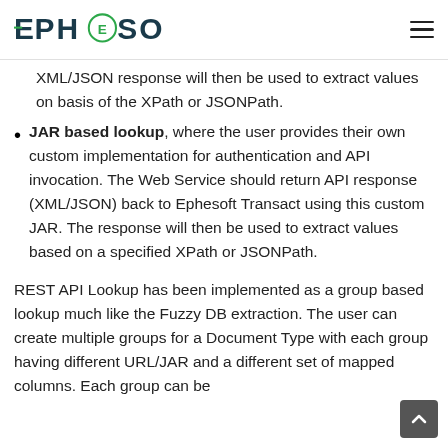EPHESOFT
XML/JSON response will then be used to extract values on basis of the XPath or JSONPath.
JAR based lookup, where the user provides their own custom implementation for authentication and API invocation. The Web Service should return API response (XML/JSON) back to Ephesoft Transact using this custom JAR. The response will then be used to extract values based on a specified XPath or JSONPath.
REST API Lookup has been implemented as a group based lookup much like the Fuzzy DB extraction. The user can create multiple groups for a Document Type with each group having different URL/JAR and a different set of mapped columns. Each group can be